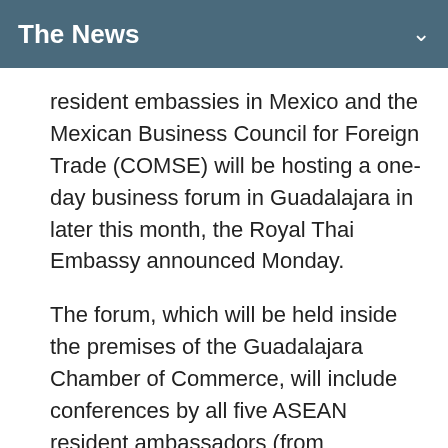The News
resident embassies in Mexico and the Mexican Business Council for Foreign Trade (COMSE) will be hosting a one-day business forum in Guadalajara in later this month, the Royal Thai Embassy announced Monday.
The forum, which will be held inside the premises of the Guadalajara Chamber of Commerce, will include conferences by all five ASEAN resident ambassadors (from Indonesia, Malaysia, the Philippines, Thailand and Vietnam), as well as representatives from more than 30 Southeast Asian companies looking to pair with Mexican